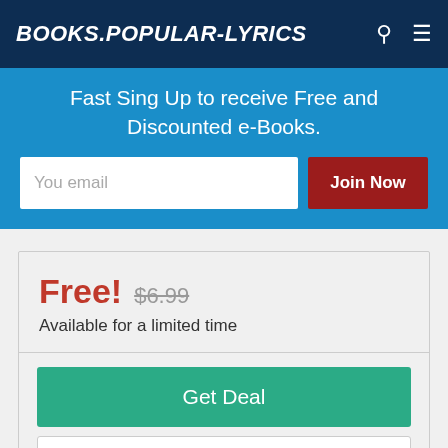BOOKS.POPULAR-LYRICS
Fast Sing Up to receive Free and Discounted e-Books.
You email
Join Now
Free! $6.99
Available for a limited time
Get Deal
Follow Book
Read preview